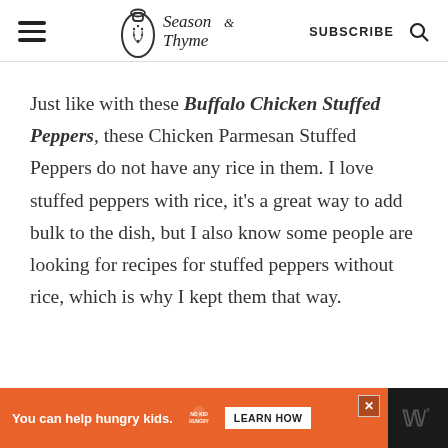Season Thyme — SUBSCRIBE
Just like with these Buffalo Chicken Stuffed Peppers, these Chicken Parmesan Stuffed Peppers do not have any rice in them. I love stuffed peppers with rice, it's a great way to add bulk to the dish, but I also know some people are looking for recipes for stuffed peppers without rice, which is why I kept them that way.
You can help hungry kids. NO KID HUNGRY LEARN HOW